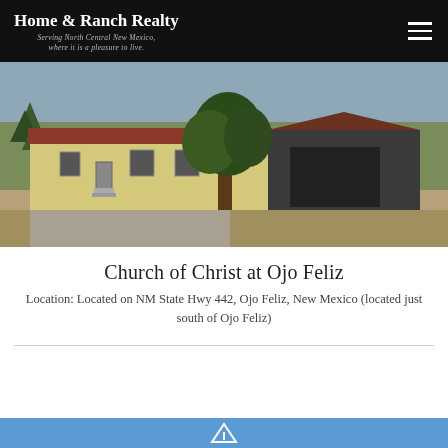Home & Ranch Realty — Serving North Central New Mexico, where it is a pleasure to live.
[Figure (photo): Exterior photo of a single-story yellow stucco building with a red/brown roof and a large tree beside it, set on a dirt/gravel lot with blue sky in the background. Church of Christ at Ojo Feliz.]
Church of Christ at Ojo Feliz
Location: Located on NM State Hwy 442, Ojo Feliz, New Mexico (located just south of Ojo Feliz)
[Figure (photo): Bottom blue strip with a small white icon, partially visible at the bottom of the page.]